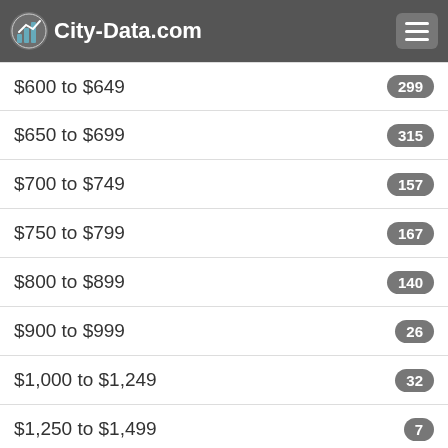City-Data.com
$600 to $649
$650 to $699
$700 to $749
$750 to $799
$800 to $899
$900 to $999
$1,000 to $1,249
$1,250 to $1,499
No cash rent